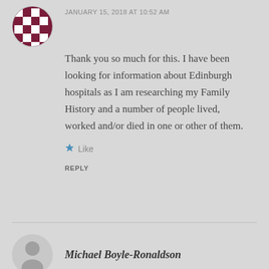[Figure (illustration): Checkerboard pattern avatar icon with purple/maroon colors, partially visible at top left]
JANUARY 15, 2018 AT 10:52 AM
Thank you so much for this. I have been looking for information about Edinburgh hospitals as I am researching my Family History and a number of people lived, worked and/or died in one or other of them.
Like
REPLY
[Figure (illustration): Generic grey silhouette avatar icon for Michael Boyle-Ronaldson]
Michael Boyle-Ronaldson
FEBRUARY 3, 2018 AT 12:27 AM